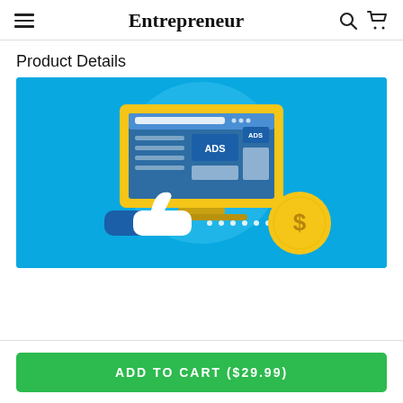Entrepreneur
Product Details
[Figure (illustration): Illustration of a laptop computer displaying a webpage with two blue 'ADS' advertisement blocks, a white thumbs-up icon on a blue hand, and a gold coin with a dollar sign, all on a bright blue background with a light circular highlight behind the laptop.]
ADD TO CART ($29.99)